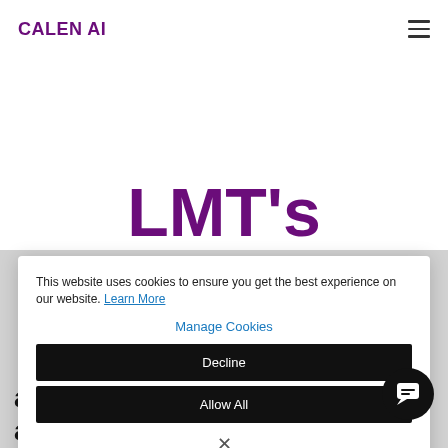CALEN AI
LMT's
This website uses cookies to ensure you get the best experience on our website. Learn More
Manage Cookies
Decline
Allow All
×
answering the same questions and